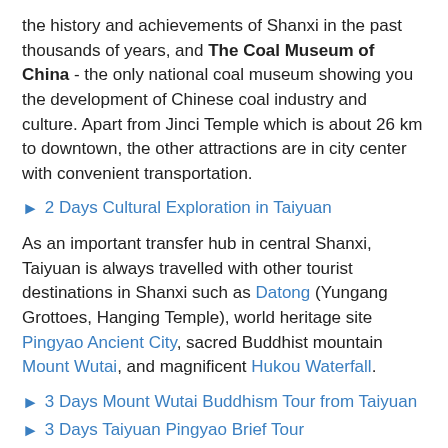the history and achievements of Shanxi in the past thousands of years, and The Coal Museum of China - the only national coal museum showing you the development of Chinese coal industry and culture. Apart from Jinci Temple which is about 26 km to downtown, the other attractions are in city center with convenient transportation.
2 Days Cultural Exploration in Taiyuan
As an important transfer hub in central Shanxi, Taiyuan is always travelled with other tourist destinations in Shanxi such as Datong (Yungang Grottoes, Hanging Temple), world heritage site Pingyao Ancient City, sacred Buddhist mountain Mount Wutai, and magnificent Hukou Waterfall.
3 Days Mount Wutai Buddhism Tour from Taiyuan
3 Days Taiyuan Pingyao Brief Tour
6 Day Datong Pingyao Tour Plus Wutaishan Visit
If you have more days and want to travel outside Shanxi, it is highly recommended to extend your tour to capital Beijing (Great Wall, Forbidden City), time-honored Xi'an (Terracotta